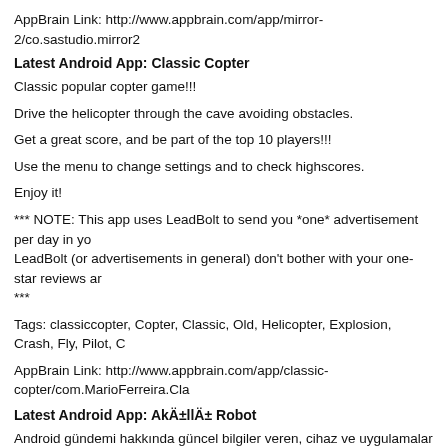AppBrain Link: http://www.appbrain.com/app/mirror-2/co.sastudio.mirror2
Latest Android App: Classic Copter
Classic popular copter game!!!
Drive the helicopter through the cave avoiding obstacles.
Get a great score, and be part of the top 10 players!!!
Use the menu to change settings and to check highscores.
Enjoy it!
*** NOTE: This app uses LeadBolt to send you *one* advertisement per day in yo... LeadBolt (or advertisements in general) don't bother with your one-star reviews ar... ***
Tags: classiccopter, Copter, Classic, Old, Helicopter, Explosion, Crash, Fly, Pilot, C...
AppBrain Link: http://www.appbrain.com/app/classic-copter/com.MarioFerreira.Cla...
Latest Android App: AkÄ±llÄ± Robot
Android gündemi hakkında güncel bilgiler veren, cihaz ve uygulamalar ile ilgili bild... akillirobot.com'un uygulaması Android Market'te!
Uygulama ile yapabileckeleriniz:
-Güncel yazıları istediğiniz aralıklarala alabilir ve basit arayüzle okuyabilirsiniz,
-Beğendiğiniz yazıları favorilerinize ekleyebilir ya da tek dokunuşla paylaşabilirsiniz,
-Widget desteği ile ana ekranınızda yazıları görüntüleyebilirsiniz.
Uygulama hafıza kartına taşınabilmektedir ancak bu işlemden sonra widget çalışm...